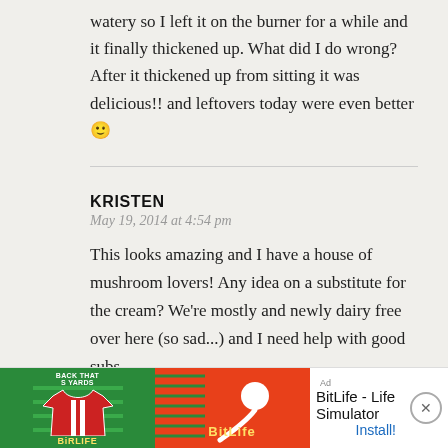watery so I left it on the burner for a while and it finally thickened up. What did I do wrong? After it thickened up from sitting it was delicious!! and leftovers today were even better 🙂
KRISTEN
May 19, 2014 at 4:54 pm
This looks amazing and I have a house of mushroom lovers! Any idea on a substitute for the cream? We're mostly and newly dairy free over here (so sad...) and I need help with good subs.
[Figure (screenshot): Ad banner for BitLife - Life Simulator app with green soccer shirt image on left, BitLife logo on right, and Install button]